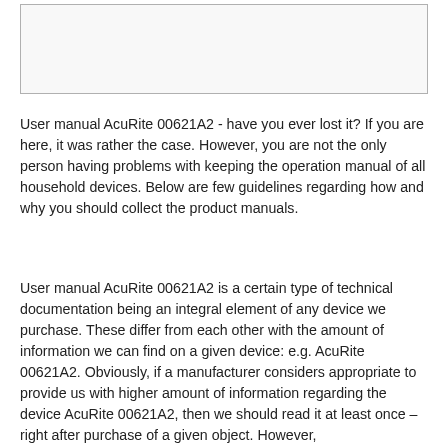[Figure (other): Empty bordered box at top of page]
User manual AcuRite 00621A2 - have you ever lost it? If you are here, it was rather the case. However, you are not the only person having problems with keeping the operation manual of all household devices. Below are few guidelines regarding how and why you should collect the product manuals.
User manual AcuRite 00621A2 is a certain type of technical documentation being an integral element of any device we purchase. These differ from each other with the amount of information we can find on a given device: e.g. AcuRite 00621A2. Obviously, if a manufacturer considers appropriate to provide us with higher amount of information regarding the device AcuRite 00621A2, then we should read it at least once – right after purchase of a given object. However,